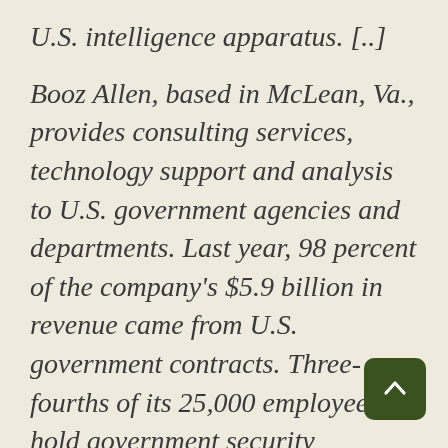U.S. intelligence apparatus. [..]
Booz Allen, based in McLean, Va., provides consulting services, technology support and analysis to U.S. government agencies and departments. Last year, 98 percent of the company's $5.9 billion in revenue came from U.S. government contracts. Three-fourths of its 25,000 employees hold government security clearances. Half the employees have top secret